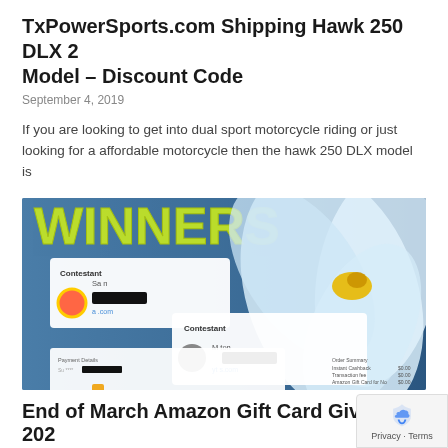TxPowerSports.com Shipping Hawk 250 DLX 2 Model – Discount Code
September 4, 2019
If you are looking to get into dual sport motorcycle riding or just looking for a affordable motorcycle then the hawk 250 DLX model is
[Figure (photo): Winners announcement image showing two contestant cards with redacted names, a Fresh Giveaways receipt, and a white lily flower on a blue background]
End of March Amazon Gift Card Giveaway 202
March 18, 2022